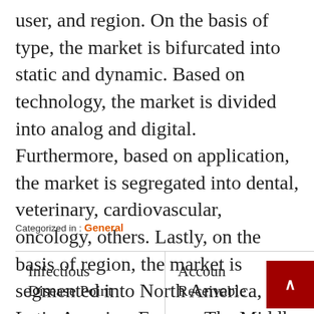user, and region. On the basis of type, the market is bifurcated into static and dynamic. Based on technology, the market is divided into analog and digital. Furthermore, based on application, the market is segregated into dental, veterinary, cardiovascular, oncology, others. Lastly, on the basis of region, the market is segmented into North America, Latin America. Europe, The Middle East and Africa, and Asia-Pacific.
Categorized in : General
Infectious Disease Point
Account Receivable